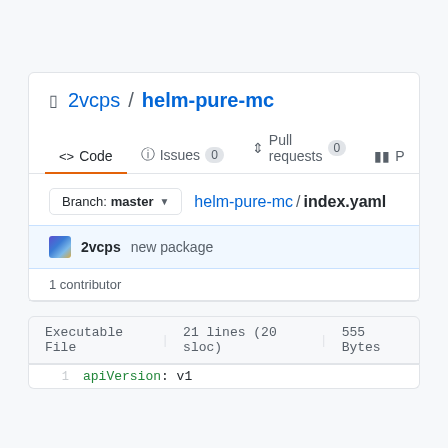2vcps / helm-pure-mc
Code  Issues 0  Pull requests 0
Branch: master  helm-pure-mc / index.yaml
2vcps new package
1 contributor
Executable File  21 lines (20 sloc)  555 Bytes
1  apiVersion: v1